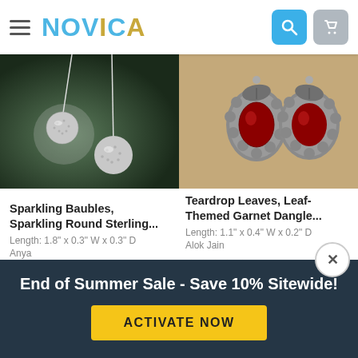NOVICA
[Figure (photo): Silver sparkling ball drop earrings on dark background]
[Figure (photo): Garnet teardrop leaf-themed stud earrings on tan background]
Sparkling Baubles, Sparkling Round Sterling...
Length: 1.8" x 0.3" W x 0.3" D
Anya
★★★★★ (20)
$29.99  $26.99
Teardrop Leaves, Leaf-Themed Garnet Dangle...
Length: 1.1" x 0.4" W x 0.2" D
Alok Jain
★★★★★ (1627)
$34.99  $31.49
End of Summer Sale - Save 10% Sitewide!
ACTIVATE NOW